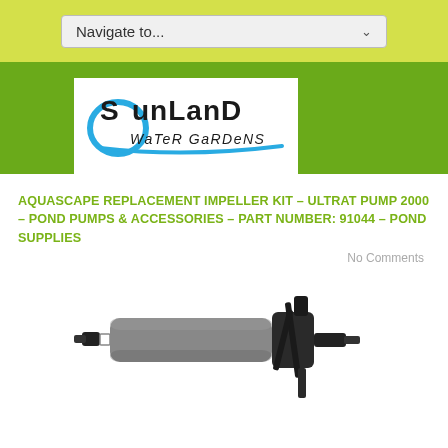Navigate to...
[Figure (logo): Sunland Water Gardens logo with stylized blue and black text on white background]
AQUASCAPE REPLACEMENT IMPELLER KIT – ULTRAT PUMP 2000 – POND PUMPS & ACCESSORIES – PART NUMBER: 91044 – POND SUPPLIES
No Comments
[Figure (photo): Aquascape replacement impeller kit component — cylindrical gray foam covered rotor with black plastic end caps and impeller blade, shown on white background]